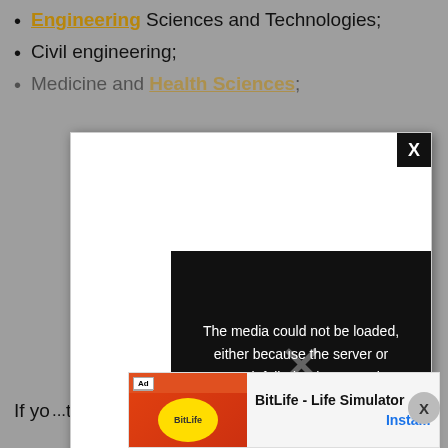Engineering Sciences and Technologies;
Civil engineering;
Medicine and Health Sciences;
[Figure (screenshot): A modal dialog box with white background containing a media player area. The top-right corner has a black close button with X. Over the lower portion, a black panel shows an error message: 'The media could not be loaded, either because the server or network failed or because the format is not supported.' with a large X mark overlay. A small circular X button appears to the right side.]
[Figure (screenshot): An advertisement banner for BitLife - Life Simulator app, showing an ad image on the left with 'You can't sit with us' text and an Install button on the right in blue.]
If yo... to